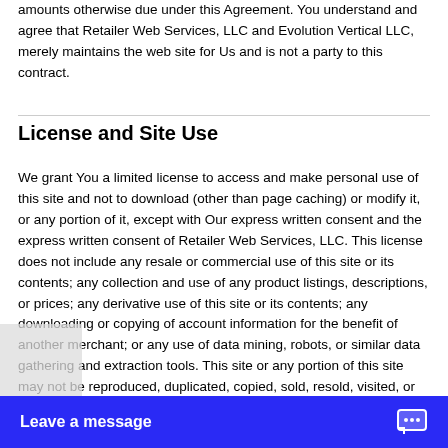amounts otherwise due under this Agreement. You understand and agree that Retailer Web Services, LLC and Evolution Vertical LLC, merely maintains the web site for Us and is not a party to this contract.
License and Site Use
We grant You a limited license to access and make personal use of this site and not to download (other than page caching) or modify it, or any portion of it, except with Our express written consent and the express written consent of Retailer Web Services, LLC. This license does not include any resale or commercial use of this site or its contents; any collection and use of any product listings, descriptions, or prices; any derivative use of this site or its contents; any downloading or copying of account information for the benefit of another merchant; or any use of data mining, robots, or similar data gathering and extraction tools. This site or any portion of this site may not be reproduced, duplicated, copied, sold, resold, visited, or otherwise exploited for any commercial purpose without Our express written consent of and the written consent of Retailer Web Services, LLC...